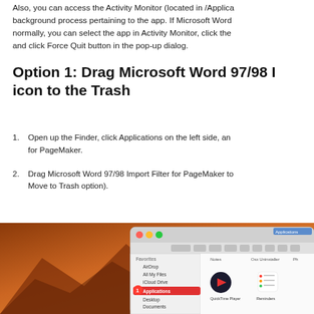Also, you can access the Activity Monitor (located in /Applica… background process pertaining to the app. If Microsoft Word normally, you can select the app in Activity Monitor, click the and click Force Quit button in the pop-up dialog.
Option 1: Drag Microsoft Word 97/98 Import Filter icon to the Trash
Open up the Finder, click Applications on the left side, and… for PageMaker.
Drag Microsoft Word 97/98 Import Filter for PageMaker to… Move to Trash option).
[Figure (screenshot): macOS Finder window showing Applications folder selected in Favorites sidebar with AirDrop, All My Files, iCloud Drive, Applications (highlighted in red), Desktop, Documents. Right panel shows Notes, Osx Uninstaller, QuickTime Player, Reminders icons.]